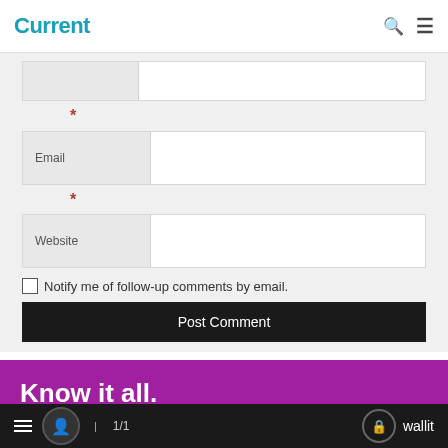Current
[Figure (screenshot): Web form with Email and Website input fields, a required asterisk marker, a checkbox for follow-up comment notification, and a Post Comment button. Below is a purple banner with 'Know it all.' text.]
* (required field marker for Email)
Email
* (required field marker for Website)
Website
Notify me of follow-up comments by email.
Post Comment
Know it all.
1/1  wallit